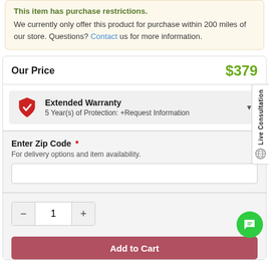This item has purchase restrictions. We currently only offer this product for purchase within 200 miles of our store. Questions? Contact us for more information.
Our Price  $379
Extended Warranty
5 Year(s) of Protection: +Request Information
Enter Zip Code *
For delivery options and item availability.
1
Add to Cart